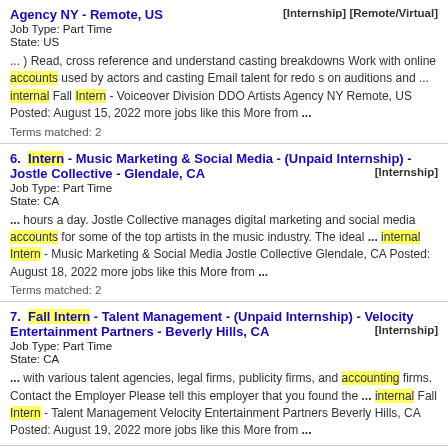Agency NY - Remote, US [Internship] [Remote/Virtual]
Job Type: Part Time
State: US
... ) Read, cross reference and understand casting breakdowns Work with online accounts used by actors and casting Email talent for redo s on auditions and ... internal Fall Intern - Voiceover Division DDO Artists Agency NY Remote, US Posted: August 15, 2022 more jobs like this More from ...
Terms matched: 2
6. Intern - Music Marketing & Social Media - (Unpaid Internship) - Jostle Collective - Glendale, CA [Internship]
Job Type: Part Time
State: CA
... hours a day. Jostle Collective manages digital marketing and social media accounts for some of the top artists in the music industry. The ideal ... internal Intern - Music Marketing & Social Media Jostle Collective Glendale, CA Posted: August 18, 2022 more jobs like this More from ...
Terms matched: 2
7. Fall Intern - Talent Management - (Unpaid Internship) - Velocity Entertainment Partners - Beverly Hills, CA [Internship]
Job Type: Part Time
State: CA
... with various talent agencies, legal firms, publicity firms, and accounting firms. Contact the Employer Please tell this employer that you found the ... internal Fall Intern - Talent Management Velocity Entertainment Partners Beverly Hills, CA Posted: August 19, 2022 more jobs like this More from ...